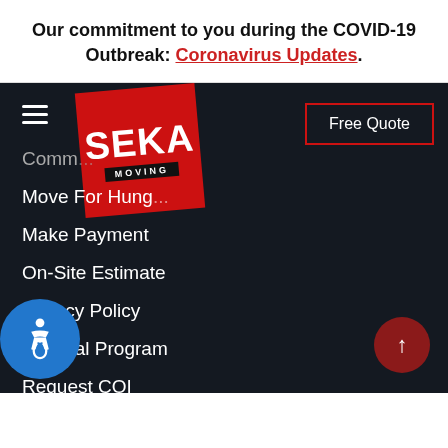Our commitment to you during the COVID-19 Outbreak: Coronavirus Updates.
[Figure (logo): SEKA Moving logo - red rotated square with white SEKA text and MOVING subtext on black bar]
Free Quote
Comm...
Move For Hung...
Make Payment
On-Site Estimate
Privacy Policy
Referral Program
Request COI
Site Index
...Estimate